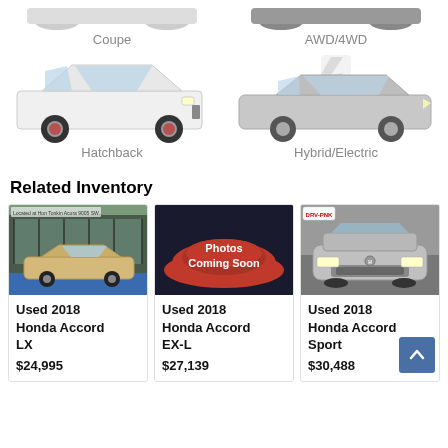[Figure (photo): Partial top row: Coupe car silhouette (white) on left, AWD/4WD car silhouette (dark) on right]
Coupe
AWD/4WD
[Figure (photo): Hatchback car (white VW Golf GTI) on left, Hybrid/Electric car (silver Toyota Prius) on right]
Hatchback
Hybrid/Electric
Related Inventory
[Figure (photo): Used 2018 Honda Accord LX - gold/beige sedan at dealership]
Used 2018 Honda Accord LX
$24,995
[Figure (photo): Photos Coming Soon placeholder with red cover]
Used 2018 Honda Accord EX-L
$27,139
[Figure (photo): Used 2018 Honda Accord Sport - silver sedan front view]
Used 2018 Honda Accord Sport
$30,488